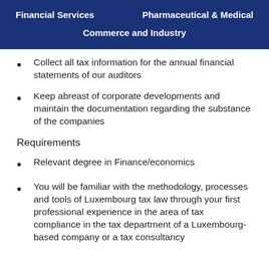Financial Services   Pharmaceutical & Medical   Commerce and Industry
Collect all tax information for the annual financial statements of our auditors
Keep abreast of corporate developments and maintain the documentation regarding the substance of the companies
Requirements
Relevant degree in Finance/economics
You will be familiar with the methodology, processes and tools of Luxembourg tax law through your first professional experience in the area of tax compliance in the tax department of a Luxembourg-based company or a tax consultancy